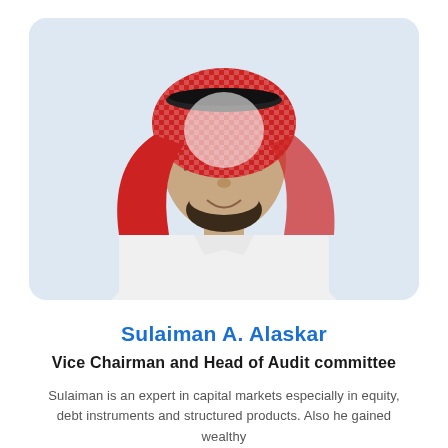[Figure (photo): Professional headshot of Sulaiman A. Alaskar, a man wearing traditional Saudi Arabian attire (white thobe and red-and-white checked ghutrah/keffiyeh with black agal) and glasses, smiling, displayed in a light blue rounded rectangle card.]
Sulaiman A. Alaskar
Vice Chairman and Head of Audit committee
Sulaiman is an expert in capital markets especially in equity, debt instruments and structured products. Also he gained wealthy